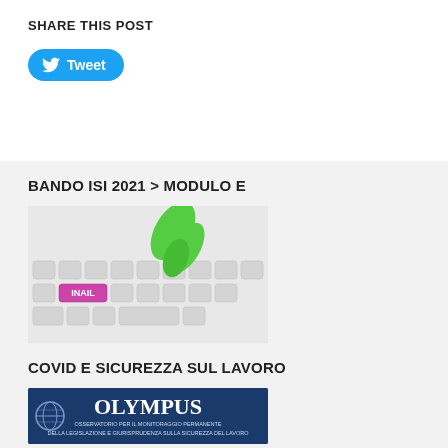SHARE THIS POST
[Figure (other): Tweet button with Twitter bird icon]
BANDO ISI 2021 > MODULO E
[Figure (photo): Green finger pressing a keyboard key labeled INAIL in pink/purple color]
COVID E SICUREZZA SUL LAVORO
[Figure (logo): Olympus logo - Osservatorio per il monitoraggio permanente della legislazione e giurisprudenza sulla sicurezza del lavoro]